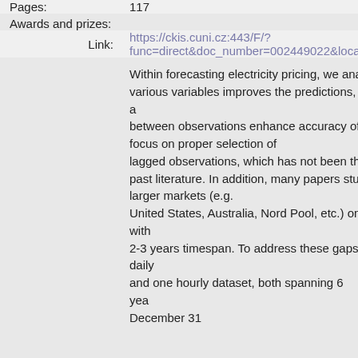| Pages: | 117 |
| Awards and prizes: |  |
| Link: | https://ckis.cuni.cz:443/F/?func=direct&doc_number=002449022&local |
Within forecasting electricity pricing, we ana various variables improves the predictions, a between observations enhance accuracy of focus on proper selection of lagged observations, which has not been th past literature. In addition, many papers stu larger markets (e.g. United States, Australia, Nord Pool, etc.) on with 2-3 years timespan. To address these gaps daily and one hourly dataset, both spanning 6 yea December 31